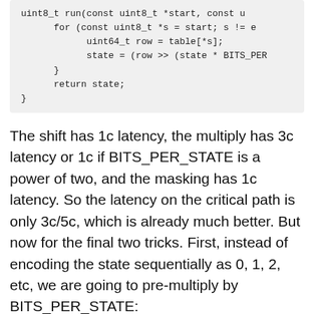[Figure (other): Code block showing C++ function with for loop, uint64_t row assignment, state shift operation, and return statement]
The shift has 1c latency, the multiply has 3c latency or 1c if BITS_PER_STATE is a power of two, and the masking has 1c latency. So the latency on the critical path is only 3c/5c, which is already much better. But now for the final two tricks. First, instead of encoding the state sequentially as 0, 1, 2, etc, we are going to pre-multiply by BITS_PER_STATE:
[Figure (other): Code block showing uint64_t table[256] declaration and uint8_t run function signature]